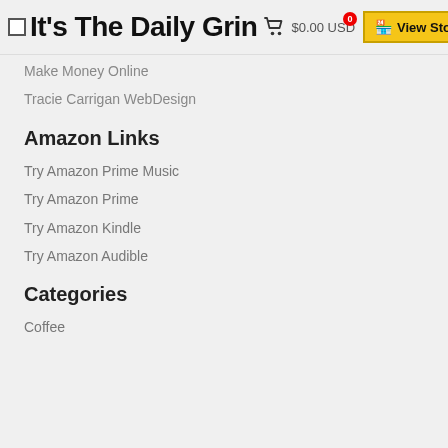It's The Daily Grind — View Store
Make Money Online
Tracie Carrigan WebDesign
Amazon Links
Try Amazon Prime Music
Try Amazon Prime
Try Amazon Kindle
Try Amazon Audible
Categories
Coffee